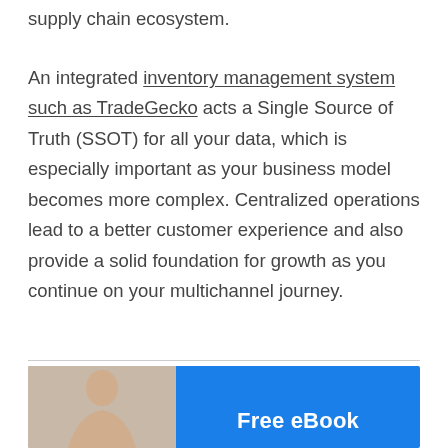supply chain ecosystem. An integrated inventory management system such as TradeGecko acts a Single Source of Truth (SSOT) for all your data, which is especially important as your business model becomes more complex. Centralized operations lead to a better customer experience and also provide a solid foundation for growth as you continue on your multichannel journey.
[Figure (infographic): Banner with a photo of a woman on the left and a blue panel on the right showing 'Free eBook' text in white bold letters.]